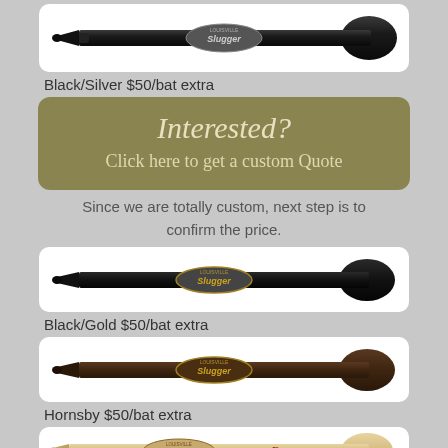[Figure (photo): Black Louisville Slugger baseball bat with silver logo on dark background]
Black/Silver $50/bat extra
[Figure (infographic): Olive/dark yellow-green button with text 'Interested? Click here to get a custom Quote']
Since we are totally custom, next step is to confirm the price.
[Figure (photo): Black Louisville Slugger baseball bat with gold logo]
Black/Gold $50/bat extra
[Figure (photo): Brown/dark Hornsby Louisville Slugger baseball bat]
Hornsby $50/bat extra
[Figure (photo): Natural/light wood Louisville Slugger Braves baseball bat, partially visible at bottom]